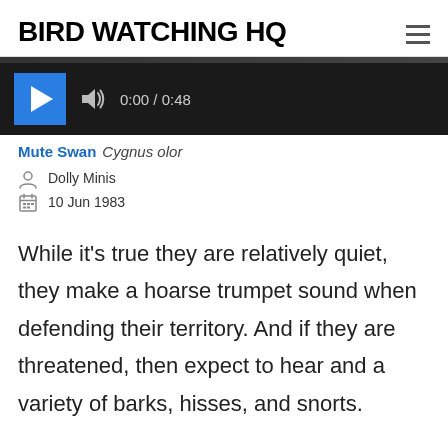BIRD WATCHING HQ
[Figure (screenshot): Audio player widget with dark background, blue play button, speaker/volume icon, and time display showing 0:00 / 0:48]
Mute Swan  Cygnus olor
Dolly Minis
10 Jun 1983
While it’s true they are relatively quiet, they make a hoarse trumpet sound when defending their territory. And if they are threatened, then expect to hear and a variety of barks, hisses, and snorts.